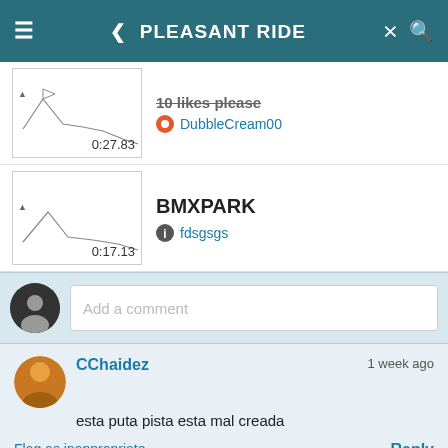PLEASANT RIDE
[Figure (other): Track thumbnail with line graph, time 0:27.83]
10 likes please
DubbleCream00
[Figure (other): Track thumbnail with line graph, time 0:17.13]
BMXPARK
fdsgsgs
Add a comment
CChaidez  1 week ago
esta puta pista esta mal creada
Flag as inappropriate  Reply
Zeus21  2 months ago
Well...every player does campaign track so considering the number of plays this many likes are normal